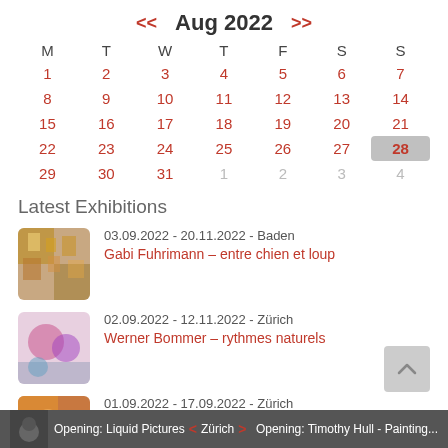| M | T | W | T | F | S | S |
| --- | --- | --- | --- | --- | --- | --- |
| 1 | 2 | 3 | 4 | 5 | 6 | 7 |
| 8 | 9 | 10 | 11 | 12 | 13 | 14 |
| 15 | 16 | 17 | 18 | 19 | 20 | 21 |
| 22 | 23 | 24 | 25 | 26 | 27 | 28 |
| 29 | 30 | 31 | 1 | 2 | 3 | 4 |
Latest Exhibitions
03.09.2022 - 20.11.2022 - Baden
Gabi Fuhrimann – entre chien et loup
02.09.2022 - 12.11.2022 - Zürich
Werner Bommer – rythmes naturels
01.09.2022 - 17.09.2022 - Zürich
Teresa Chen – Nature Morte
Opening: Liquid Pictures   Zürich   Opening: Timothy Hull - Painting...